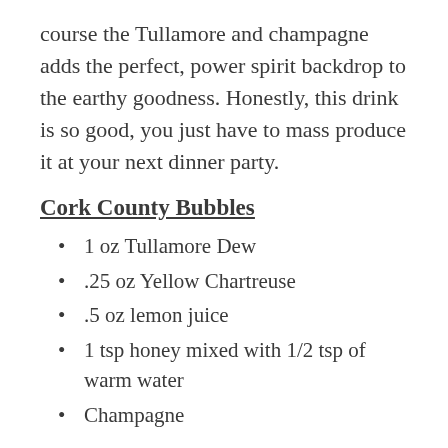course the Tullamore and champagne adds the perfect, power spirit backdrop to the earthy goodness. Honestly, this drink is so good, you just have to mass produce it at your next dinner party.
Cork County Bubbles
1 oz Tullamore Dew
.25 oz Yellow Chartreuse
.5 oz lemon juice
1 tsp honey mixed with 1/2 tsp of warm water
Champagne